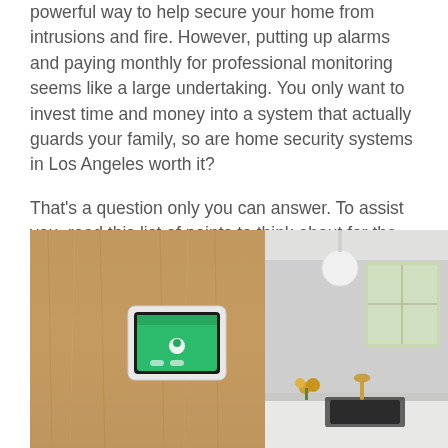powerful way to help secure your home from intrusions and fire. However, putting up alarms and paying monthly for professional monitoring seems like a large undertaking. You only want to invest time and money into a system that actually guards your family, so are home security systems in Los Angeles worth it?
That's a question only you can answer. To assist you, read this list of points to think about for the decision.
[Figure (photo): Two-panel composite photo: left panel shows a wood-paneled wall with a black-framed smart home security touchscreen panel mounted on it (green display); right panel shows a modern white kitchen interior with a round white pendant light, gold faucet, dark sink, and a window with greenery visible.]